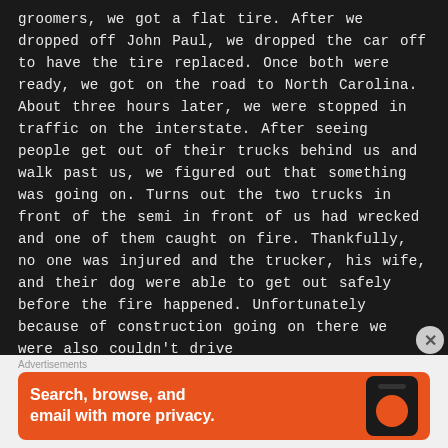groomers, we got a flat tire. After we dropped off John Paul, we dropped the car off to have the tire replaced. Once both were ready, we got on the road to North Carolina. About three hours later, we were stopped in traffic on the interstate. After seeing people get out of their trucks behind us and walk past us, we figured out that something was going on. Turns out the two trucks in front of the semi in front of us had wrecked and one of them caught on fire. Thankfully, no one was injured and the trucker, his wife, and their dog were able to get out safely before the fire happened. Unfortunately because of construction going on there we were also couldn't drive
Advertisements
[Figure (other): DuckDuckGo advertisement banner on orange background with text 'Search, browse, and email with more privacy.' and a phone image on the right.]